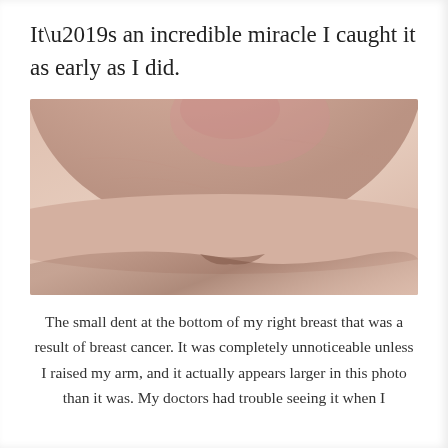It’s an incredible miracle I caught it as early as I did.
[Figure (photo): Close-up photograph of the underside of a breast showing a small dent at the bottom, indicative of breast cancer. The skin appears pale/peach-toned with a subtle indentation visible at the lower curve.]
The small dent at the bottom of my right breast that was a result of breast cancer. It was completely unnoticeable unless I raised my arm, and it actually appears larger in this photo than it was. My doctors had trouble seeing it when I